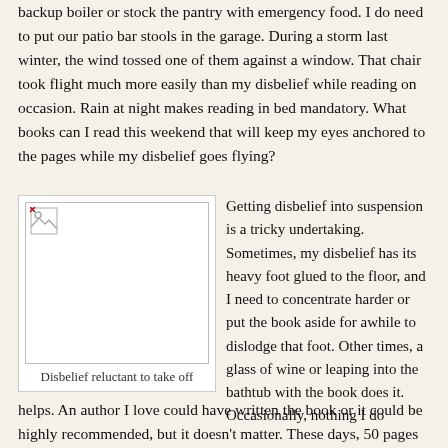backup boiler or stock the pantry with emergency food. I do need to put our patio bar stools in the garage. During a storm last winter, the wind tossed one of them against a window. That chair took flight much more easily than my disbelief while reading on occasion. Rain at night makes reading in bed mandatory. What books can I read this weekend that will keep my eyes anchored to the pages while my disbelief goes flying?
[Figure (photo): Placeholder image with broken image icon, representing 'Disbelief reluctant to take off']
Disbelief reluctant to take off
Getting disbelief into suspension is a tricky undertaking. Sometimes, my disbelief has its heavy foot glued to the floor, and I need to concentrate harder or put the book aside for awhile to dislodge that foot. Other times, a glass of wine or leaping into the bathtub with the book does it. Occasionally, nothing I do helps. An author I love could have written the book or it could be highly recommended, but it doesn't matter. These days, 50 pages or sometimes 20 pages is enough to tell me my disbelief's flight has